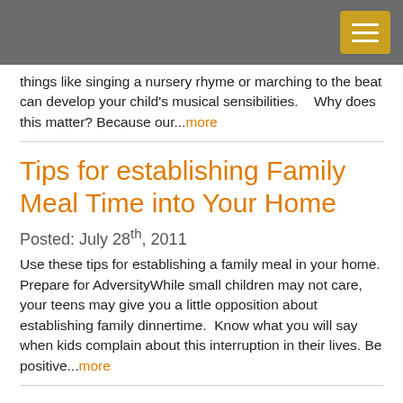things like singing a nursery rhyme or marching to the beat can develop your child's musical sensibilities.    Why does this matter? Because our...more
Tips for establishing Family Meal Time into Your Home
Posted: July 28th, 2011
Use these tips for establishing a family meal in your home. Prepare for AdversityWhile small children may not care, your teens may give you a little opposition about establishing family dinnertime.  Know what you will say when kids complain about this interruption in their lives. Be positive...more
Ways to Bring Your Family to the Table Get Everyone Involved